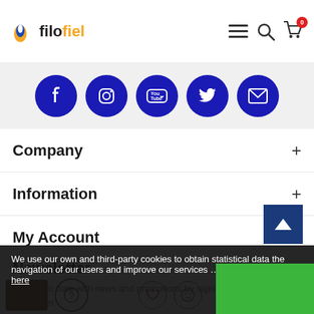[Figure (logo): Filofiel logo with orange and blue flame icon and the text 'filo' in dark and 'fiel' in orange]
[Figure (infographic): Row of 5 blue circular social media icons: Facebook, Instagram, YouTube, Twitter, Email]
Company
Information
My Account
Newsletter
Stay up to date with news and promotions by signing up for our newsletter
We use our own and third-party cookies to obtain statistical data the navigation of our users and improve our services … more information here